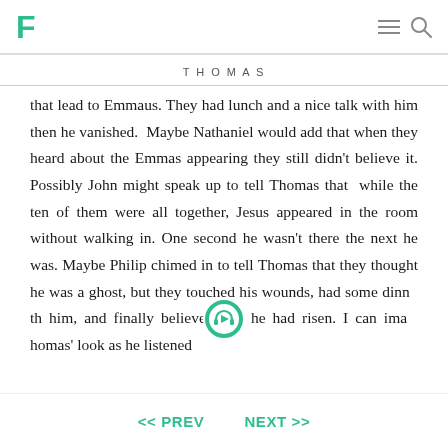F
THOMAS
that lead to Emmaus. They had lunch and a nice talk with him then he vanished.  Maybe Nathaniel would add that when they heard about the Emmas appearing they still didn't believe it. Possibly John might speak up to tell Thomas that  while the ten of them were all together, Jesus appeared in the room without walking in. One second he wasn't there the next he was. Maybe Philip chimed in to tell Thomas that they thought he was a ghost, but they touched his wounds, had some dinn  th him, and finally believed that he had risen. I can ima  homas' look as he listened
<< PREV   NEXT >>